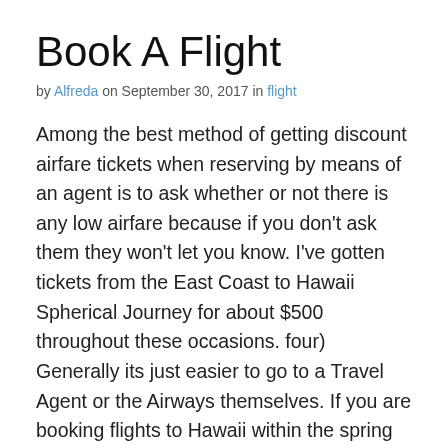Book A Flight
by Alfreda on September 30, 2017 in flight
Among the best method of getting discount airfare tickets when reserving by means of an agent is to ask whether or not there is any low airfare because if you don't ask them they won't let you know. I've gotten tickets from the East Coast to Hawaii Spherical Journey for about $500 throughout these occasions. four) Generally its just easier to go to a Travel Agent or the Airways themselves. If you are booking flights to Hawaii within the spring for the summer time, you then may be able to get prices as little as $four hundred spherical journey. East Midlands Airport is just not conscious of the call expenses for its airways and tour operators so please see the airline or tour operator web site for the related cost.